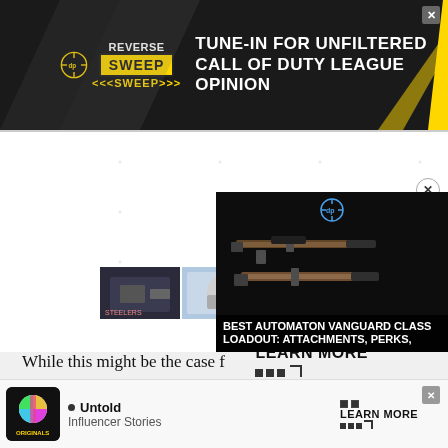[Figure (screenshot): Top banner advertisement for 'Reverse Sweep' podcast: dark background with logo, text 'TUNE-IN FOR UNFILTERED CALL OF DUTY LEAGUE OPINION', yellow diagonal stripe, close button top right]
[Figure (screenshot): Middle content area with two video thumbnails and a 'LEARN MORE' widget with black squares and corner mark]
[Figure (screenshot): Floating video player showing gun/weapon image with caption 'BEST AUTOMATON VANGUARD CLASS LOADOUT: ATTACHMENTS, PERKS,' and a channel logo at top, with X close button]
While this might be the case f... Discord messages published i... Save Titanfall website reveals... was be... Legen...
[Figure (screenshot): Bottom banner advertisement with Originals logo, bullet points including 'Untold' and 'Influencer Stories', and a 'LEARN MORE' widget with X close button]